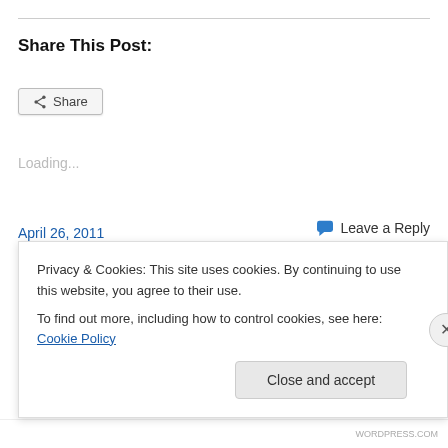Share This Post:
[Figure (other): Share button with share icon]
Loading...
April 26, 2011
Leave a Reply
Privacy & Cookies: This site uses cookies. By continuing to use this website, you agree to their use.
To find out more, including how to control cookies, see here: Cookie Policy
Close and accept